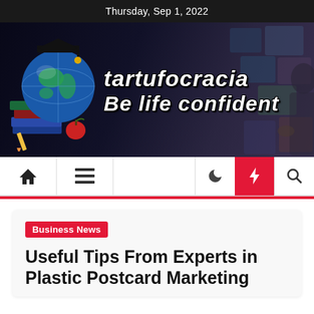Thursday, Sep 1, 2022
[Figure (illustration): Tartufocracia website banner with a globe wearing a graduation cap, stacked books, apple, pencil, and floating photo thumbnails on a dark background. Text reads 'tartufocracia Be life confident']
Navigation bar with home icon, menu icon, moon icon, lightning bolt icon, and search icon
Business News
Useful Tips From Experts in Plastic Postcard Marketing